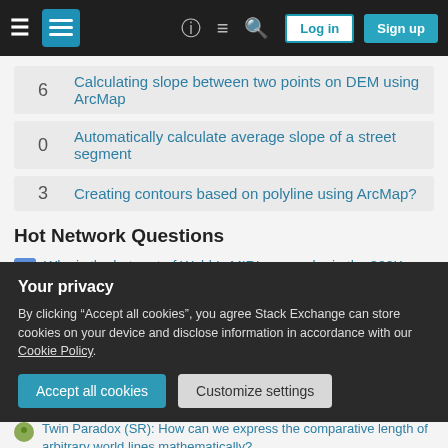Stack Exchange navigation header with Log in and Sign up buttons
6 — Calculating slope between two points on DEM using ArcMap
0 — Automatically calculate average slope of a street segment
3 — Creating contours based on polyline using ArcMap?
Hot Network Questions
Why is the hot part of Webb's MIRI cryocooler in the 300K area?
What factors would contribute to a medieval era mechanical revolution?
Mirrors used for focusing sunlight in outer space - could they be automatically oriented towards the sun using sun sail rudder-like
Your privacy — By clicking "Accept all cookies", you agree Stack Exchange can store cookies on your device and disclose information in accordance with our Cookie Policy.
Twin Paradox (SR): How can we express the comparative length of arbitrary world lines mathematically?